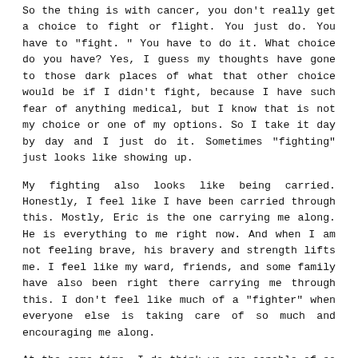So the thing is with cancer, you don't really get a choice to fight or flight. You just do. You have to "fight." You have to do it. What choice do you have? Yes, I guess my thoughts have gone to those dark places of what that other choice would be if I didn't fight, because I have such fear of anything medical, but I know that is not my choice or one of my options. So I take it day by day and I just do it. Sometimes "fighting" just looks like showing up.
My fighting also looks like being carried. Honestly, I feel like I have been carried through this. Mostly, Eric is the one carrying me along. He is everything to me right now. And when I am not feeling brave, his bravery and strength lifts me. I feel like my ward, friends, and some family have also been right there carrying me through this. I don't feel like much of a "fighter" when everyone else is taking care of so much and encouraging me along.
At the same time, I do think we are capable of so much more than we realize. Fighting is recognizing that. We can do so much more than we think we can. I think as long as you desire the outcome